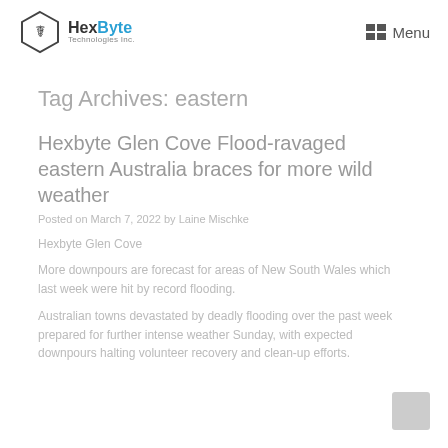HexByte Technologies Inc. — Menu
Tag Archives: eastern
Hexbyte Glen Cove Flood-ravaged eastern Australia braces for more wild weather
Posted on March 7, 2022 by Laine Mischke
Hexbyte Glen Cove
More downpours are forecast for areas of New South Wales which last week were hit by record flooding.
Australian towns devastated by deadly flooding over the past week prepared for further intense weather Sunday, with expected downpours halting volunteer recovery and clean-up efforts.